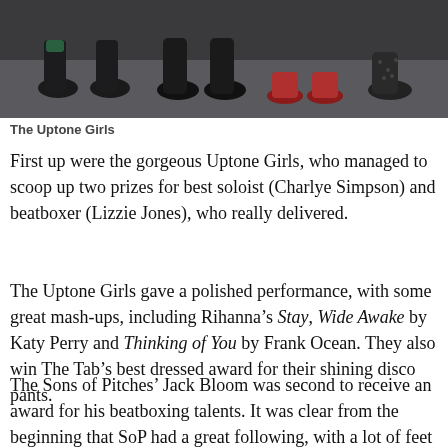[Figure (photo): Photo of several pairs of feet/shoes from above, standing on a grey floor, including ankle boots, flat shoes, and heeled shoes.]
The Uptone Girls
First up were the gorgeous Uptone Girls, who managed to scoop up two prizes for best soloist (Charlye Simpson) and beatboxer (Lizzie Jones), who really delivered.
The Uptone Girls gave a polished performance, with some great mash-ups, including Rihanna’s Stay, Wide Awake by Katy Perry and Thinking of You by Frank Ocean. They also win The Tab’s best dressed award for their shining disco pants.
The Sons of Pitches’ Jack Bloom was second to receive an award for his beatboxing talents. It was clear from the beginning that SoP had a great following, with a lot of feet stomping and screaming from enthusiastic audience